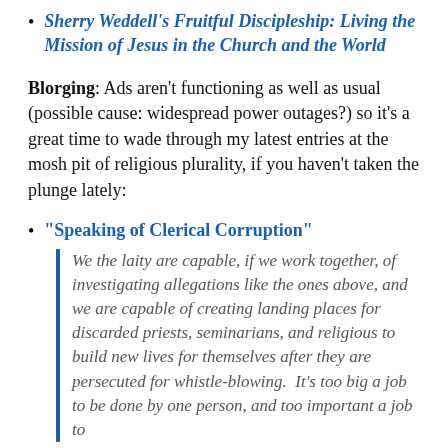Sherry Weddell's Fruitful Discipleship: Living the Mission of Jesus in the Church and the World
Blorging: Ads aren't functioning as well as usual (possible cause: widespread power outages?) so it's a great time to wade through my latest entries at the mosh pit of religious plurality, if you haven't taken the plunge lately:
"Speaking of Clerical Corruption"
We the laity are capable, if we work together, of investigating allegations like the ones above, and we are capable of creating landing places for discarded priests, seminarians, and religious to build new lives for themselves after they are persecuted for whistle-blowing.  It's too big a job to be done by one person, and too important a job to